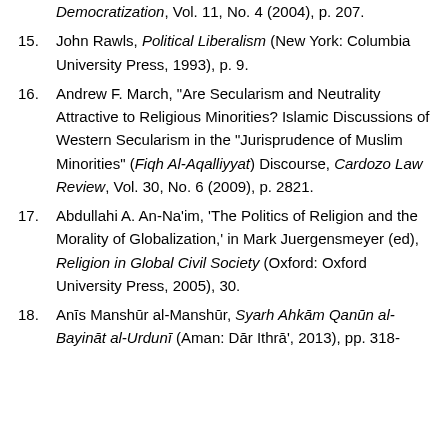[continuation] Democratization, Vol. 11, No. 4 (2004), p. 207.
15. John Rawls, Political Liberalism (New York: Columbia University Press, 1993), p. 9.
16. Andrew F. March, "Are Secularism and Neutrality Attractive to Religious Minorities? Islamic Discussions of Western Secularism in the "Jurisprudence of Muslim Minorities" (Fiqh Al-Aqalliyyat) Discourse, Cardozo Law Review, Vol. 30, No. 6 (2009), p. 2821.
17. Abdullahi A. An-Na'im, 'The Politics of Religion and the Morality of Globalization,' in Mark Juergensmeyer (ed), Religion in Global Civil Society (Oxford: Oxford University Press, 2005), 30.
18. Anīs Manshūr al-Manshūr, Syarh Ahkām Qanūn al-Bayināt al-Urdunī (Aman: Dār Ithrā', 2013), pp. 318-